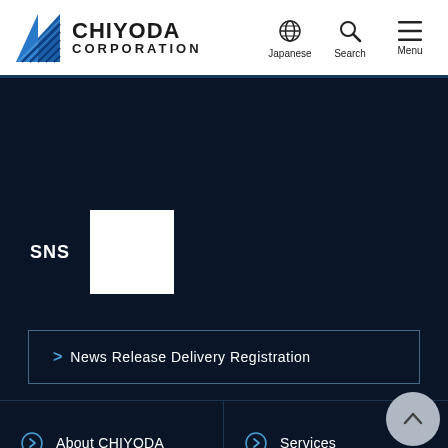[Figure (logo): Chiyoda Corporation logo with blue triangle and text]
Japanese | Search | Menu
SNS
[Figure (other): White square SNS icon box]
> News Release Delivery Registration
About CHIYODA
Services
Projects
Sustainability